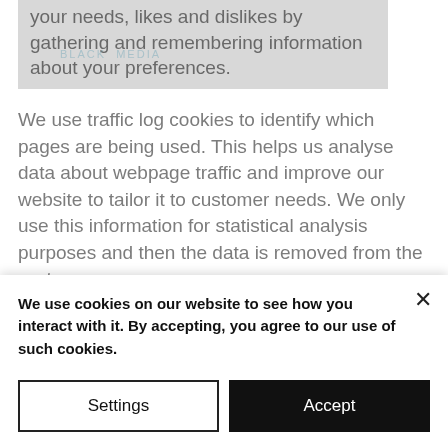your needs, likes and dislikes by gathering and remembering information about your preferences.
We use traffic log cookies to identify which pages are being used. This helps us analyse data about webpage traffic and improve our website to tailor it to customer needs. We only use this information for statistical analysis purposes and then the data is removed from the system.
Overall, cookies help us provide you with a better website by enabling us to monitor which pages you find useful and which you do not. A cookie in no
We use cookies on our website to see how you interact with it. By accepting, you agree to our use of such cookies.
Settings
Accept